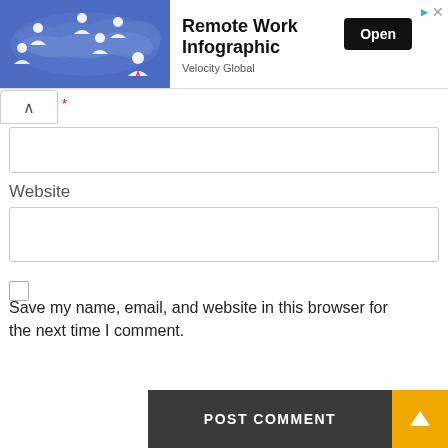[Figure (infographic): Advertisement banner: Remote Work Infographic by Velocity Global with a blue world map showing person icons and an Open button]
Website
Save my name, email, and website in this browser for the next time I comment.
POST COMMENT